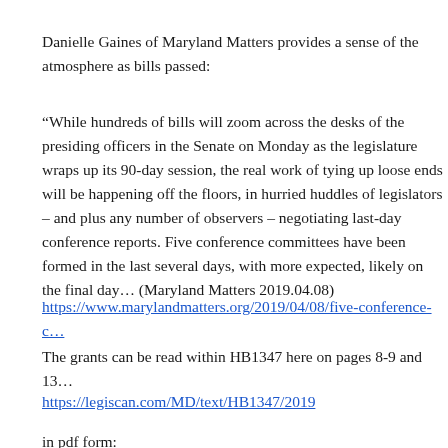Danielle Gaines of Maryland Matters provides a sense of the atmosphere as bills passed:
“While hundreds of bills will zoom across the desks of the presiding officers in the Senate on Monday as the legislature wraps up its 90-day session, the real work of tying up loose ends will be happening off the floors, in hurried huddles of legislators – and plus any number of observers – negotiating last-day conference reports. Five conference committees have been formed in the last several days, with more expected, likely on the final day… (Maryland Matters 2019.04.08)
https://www.marylandmatters.org/2019/04/08/five-conference-c…
The grants can be read within HB1347 here on pages 8-9 and 13…
https://legiscan.com/MD/text/HB1347/2019
in pdf form: